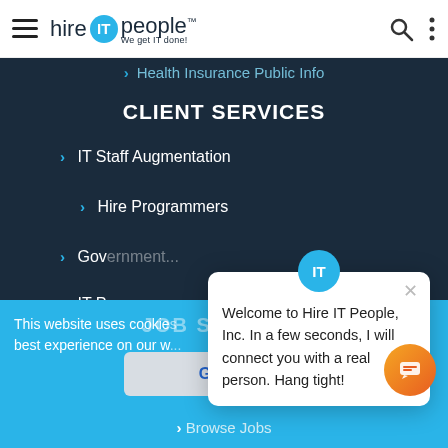hire IT people - We get IT done!
Health Insurance Public Info
CLIENT SERVICES
IT Staff Augmentation
Hire Programmers
Gov...
IT Pro...
This website uses cookies ... best experience on our w...
Got it!
JOB SEEKERS
Browse Jobs
[Figure (screenshot): Chat popup from Hire IT People with message: Welcome to Hire IT People, Inc. In a few seconds, I will connect you with a real person. Hang tight!]